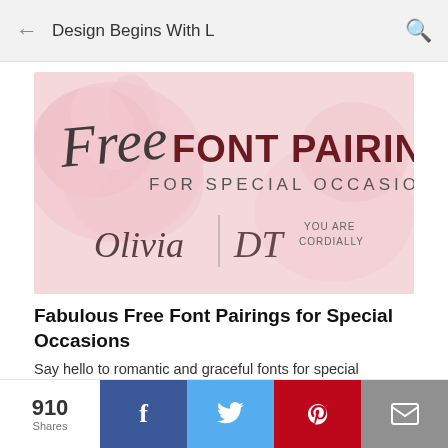Design Begins With L
[Figure (illustration): Banner image with pink floral background showing 'Free FONT PAIRINGS FOR SPECIAL OCCASIONS' text with script and serif fonts, featuring sample font names Olivia and DT with 'YOU ARE CORDIALLY' text]
Fabulous Free Font Pairings for Special Occasions
Say hello to romantic and graceful fonts for special occasions. These elaborate yet legible font pairings bolster up unique and realistic look. The subtle imperfection of handwritten fonts combined with the classy bold sans serifs adds another new ...
910 Shares